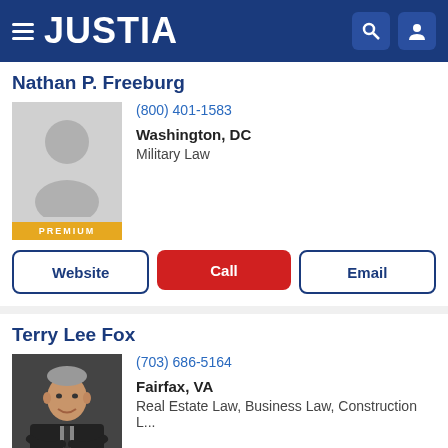JUSTIA
Nathan P. Freeburg
(800) 401-1583
Washington, DC
Military Law
[Figure (photo): Placeholder silhouette portrait for Nathan P. Freeburg with PREMIUM badge]
Website | Call | Email
Terry Lee Fox
(703) 686-5164
Fairfax, VA
Real Estate Law, Business Law, Construction L...
[Figure (photo): Professional headshot of Terry Lee Fox, older man in dark suit, smiling with arms crossed, with PREMIUM badge]
Website | Call | Email